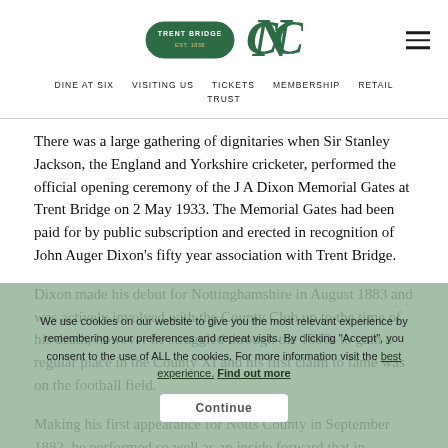TRENT BRIDGE | DINE AT SIX  VISITING US  TICKETS  MEMBERSHIP  RETAIL  TRUST
There was a large gathering of dignitaries when Sir Stanley Jackson, the England and Yorkshire cricketer, performed the official opening ceremony of the J A Dixon Memorial Gates at Trent Bridge on 2 May 1933. The Memorial Gates had been paid for by public subscription and erected in recognition of John Auger Dixon's fifty year association with Trent Bridge.
Dixon made his debut for Nottinghamshire in August 1883 and was actively involved with the County Club up to the time of his death, however he struggled through the 1880s to gain a regular place in the County XI and his first claim to fame was on the football field.
Making his first appearance for Notts County in September 1882, he performed so well as an inside forward that in